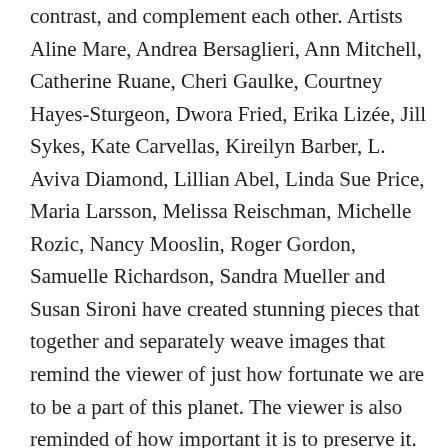contrast, and complement each other. Artists Aline Mare, Andrea Bersaglieri, Ann Mitchell, Catherine Ruane, Cheri Gaulke, Courtney Hayes-Sturgeon, Dwora Fried, Erika Lizée, Jill Sykes, Kate Carvellas, Kireilyn Barber, L. Aviva Diamond, Lillian Abel, Linda Sue Price, Maria Larsson, Melissa Reischman, Michelle Rozic, Nancy Mooslin, Roger Gordon, Samuelle Richardson, Sandra Mueller and Susan Sironi have created stunning pieces that together and separately weave images that remind the viewer of just how fortunate we are to be a part of this planet. The viewer is also reminded of how important it is to preserve it.